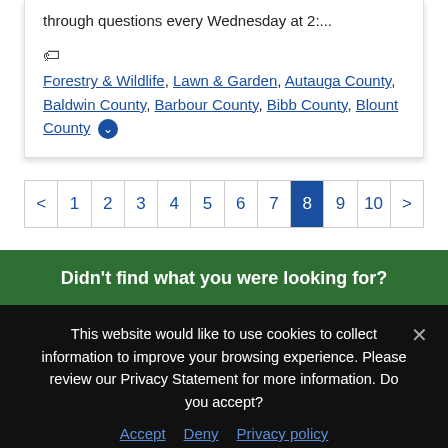through questions every Wednesday at 2:...
Forestry & Wildlife, Lawn & Garden, Autauga County, Baldwin County, Barbour County, Bibb County, Blount County
Pagination: < 1 2 3 4 5 6 7 8 9 10 >
Didn't find what you were looking for?
This website would like to use cookies to collect information to improve your browsing experience. Please review our Privacy Statement for more information. Do you accept?
Accept   Deny   Privacy policy